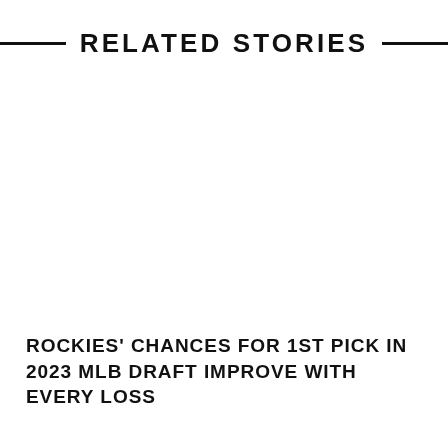RELATED STORIES
ROCKIES' CHANCES FOR 1ST PICK IN 2023 MLB DRAFT IMPROVE WITH EVERY LOSS